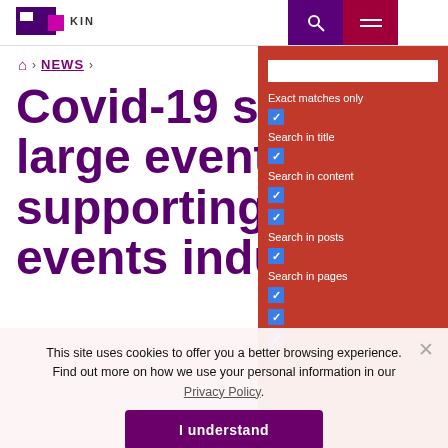RTI KIN [logo header bar]
Exact matches only
Search in title
Search in content
Search in posts
Search in pages
NEWS
Covid-19 safety in large events: supporting the events industry
This site uses cookies to offer you a better browsing experience. Find out more on how we use your personal information in our Privacy Policy.
I understand